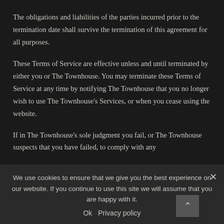The obligations and liabilities of the parties incurred prior to the termination date shall survive the termination of this agreement for all purposes.
These Terms of Service are effective unless and until terminated by either you or The Townhouse. You may terminate these Terms of Service at any time by notifying The Townhouse that you no longer wish to use The Townhouse's Services, or when you cease using the website.
If in The Townhouse's sole judgment you fail, or The Townhouse suspects that you have failed, to comply with any
We use cookies to ensure that we give you the best experience on our website. If you continue to use this site we will assume that you are happy with it.
Ok   Privacy policy